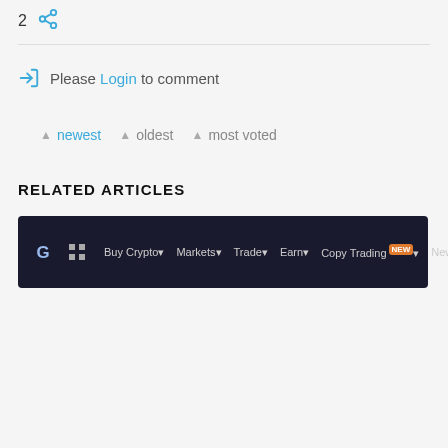2 [share icon]
Please Login to comment
▲ newest ▲ oldest ▲ most voted
RELATED ARTICLES
[Figure (screenshot): Dark navigation bar of a crypto trading website showing logo, grid icon, and nav links: Buy Crypto, Markets, Trade, Earn, Copy Trading (NEW badge), News, Giveaways]